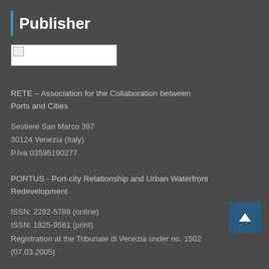Publisher
[Figure (logo): Broken image placeholder for publisher logo]
RETE – Association for the Collaboration between Ports and Cities
Sestiere San Marco 397
30124 Venezia (Italy)
P.Iva 03595190277
PORTUS - Port-city Relationship and Urban Waterfront Redevelopment
ISSN: 2282-5789 (online)
ISSN: 1825-9561 (print)
Registration at the Tribunale di Venezia under no. 1502 (07.03.2005)